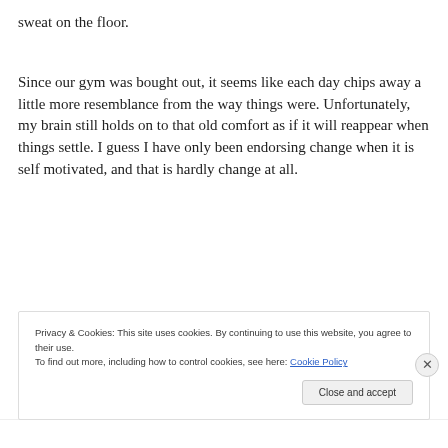sweat on the floor.
Since our gym was bought out, it seems like each day chips away a little more resemblance from the way things were. Unfortunately, my brain still holds on to that old comfort as if it will reappear when things settle. I guess I have only been endorsing change when it is self motivated, and that is hardly change at all.
Privacy & Cookies: This site uses cookies. By continuing to use this website, you agree to their use.
To find out more, including how to control cookies, see here: Cookie Policy
Close and accept